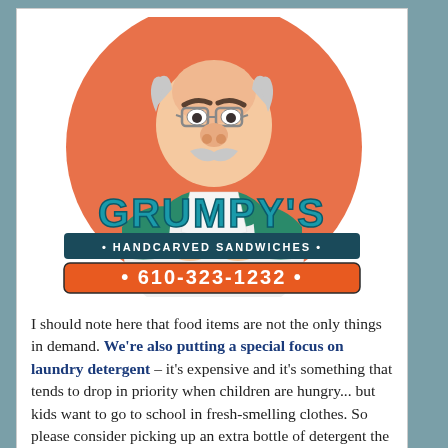[Figure (logo): Grumpy's Handcarved Sandwiches logo: cartoon grumpy old man with white apron over orange circle background, text 'GRUMPY's' in large teal letters, subtitle bar '• HANDCARVED SANDWICHES •' in dark teal, phone number bar '• 610-323-1232 •' in orange]
I should note here that food items are not the only things in demand. We're also putting a special focus on laundry detergent – it's expensive and it's something that tends to drop in priority when children are hungry... but kids want to go to school in fresh-smelling clothes. So please consider picking up an extra bottle of detergent the next time you're